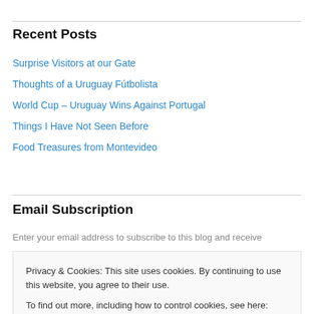Recent Posts
Surprise Visitors at our Gate
Thoughts of a Uruguay Fútbolista
World Cup – Uruguay Wins Against Portugal
Things I Have Not Seen Before
Food Treasures from Montevideo
Email Subscription
Enter your email address to subscribe to this blog and receive
Privacy & Cookies: This site uses cookies. By continuing to use this website, you agree to their use.
To find out more, including how to control cookies, see here: Cookie Policy
Close and accept